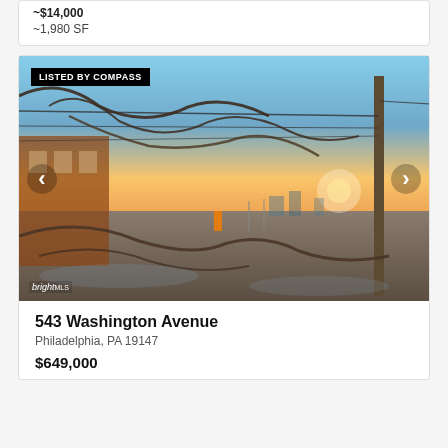~1,980 SF
[Figure (photo): Exterior street photo of a vacant lot at 543 Washington Avenue, Philadelphia at dusk/dawn. Fallen tree branches and power lines visible, with a red brick building in background and utility pole prominent. Badge reads LISTED BY COMPASS. Navigation arrows visible. BrightMLS watermark at bottom left.]
LISTED BY COMPASS
543 Washington Avenue
Philadelphia, PA 19147
$649,000